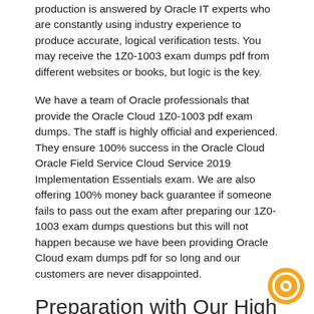production is answered by Oracle IT experts who are constantly using industry experience to produce accurate, logical verification tests. You may receive the 1Z0-1003 exam dumps pdf from different websites or books, but logic is the key.
We have a team of Oracle professionals that provide the Oracle Cloud 1Z0-1003 pdf exam dumps. The staff is highly official and experienced. They ensure 100% success in the Oracle Cloud Oracle Field Service Cloud Service 2019 Implementation Essentials exam. We are also offering 100% money back guarantee if someone fails to pass out the exam after preparing our 1Z0-1003 exam dumps questions but this will not happen because we have been providing Oracle Cloud exam dumps pdf for so long and our customers are never disappointed.
Preparation with Our High